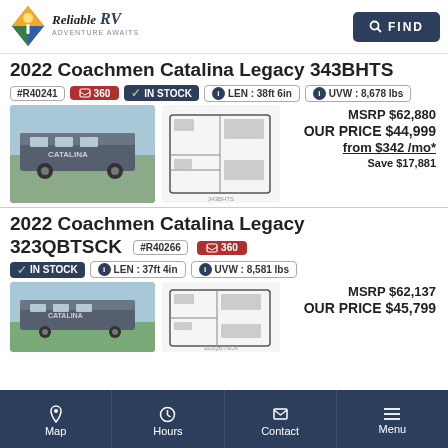Reliable RV - Adventure Awaits | FIND
2022 Coachmen Catalina Legacy 343BHTS
#R40241  360  ✓ IN STOCK  LEN : 38ft 6in  UVW : 8,678 lbs
MSRP $62,880
OUR PRICE $44,999
from $342 /mo*
Save $17,881
[Figure (photo): Photo of 2022 Coachmen Catalina Legacy 343BHTS RV exterior]
[Figure (schematic): Floor plan diagram of 2022 Coachmen Catalina Legacy 343BHTS]
2022 Coachmen Catalina Legacy 323QBTSCK
#R40266  360  ✓ IN STOCK  LEN : 37ft 4in  UVW : 8,581 lbs
MSRP $62,137
OUR PRICE $45,799
[Figure (photo): Photo of 2022 Coachmen Catalina Legacy 323QBTSCK RV exterior]
[Figure (schematic): Floor plan diagram of 2022 Coachmen Catalina Legacy 323QBTSCK]
Map  Hours  Contact  Menu